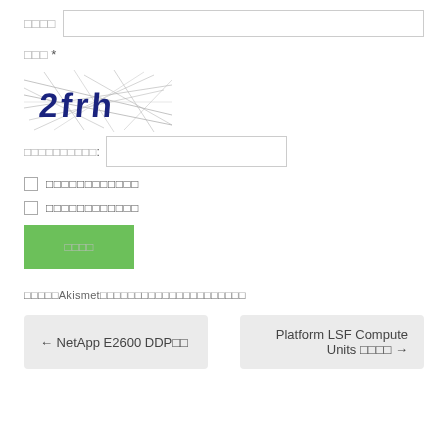□□□□ [input field]
□□□ *
[Figure (other): CAPTCHA image showing '2frh' text with overlapping lines and noise]
□□□□□□□□□□: [input field]
☐ □□□□□□□□□□□□
☐ □□□□□□□□□□□□
□□□□ [submit button]
□□□□□Akismet□□□□□□□□□□□□□□□□□□□□□□□
← NetApp E2600 DDP□□
Platform LSF Compute Units □□□□ →